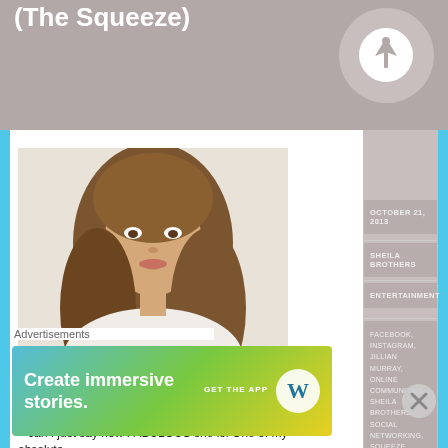(The Squeeze)
[Figure (photo): Photo of Jillian Murray, a woman with long brown/blonde hair, smiling, wearing a white top]
Jillian Murray who is starring in The Squeeze joined me this morning on The Sunny Morning Show – can I just say how FABULOUS she is! One of my absolute
OCTOBER 21, 2013
SHEILA BROTHERS
ENTERTAINMENT
FACEBOOK, INSTAGRAM, JILLIAN MURRAY, ONLINE COMMUNITIES, SHEILA BROTHERS, SOCIAL NETWORKING, SQUEEZE, SUNNY
Advertisements
[Figure (screenshot): WordPress advertisement banner: Create immersive stories. GET THE APP with WordPress logo]